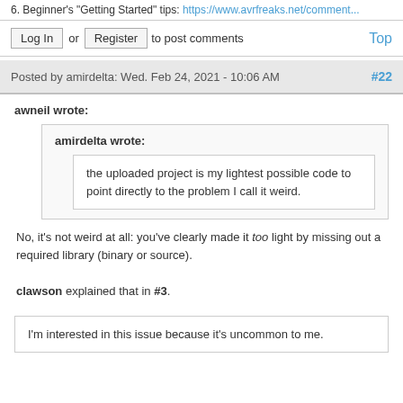6. Beginner's "Getting Started" tips: https://www.avrfreaks.net/comment...
Log In or Register to post comments   Top
Posted by amirdelta: Wed. Feb 24, 2021 - 10:06 AM  #22
awneil wrote:
amirdelta wrote:
the uploaded project is my lightest possible code to point directly to the problem I call it weird.
No, it's not weird at all: you've clearly made it too light by missing out a required library (binary or source).
clawson explained that in #3.
I'm interested in this issue because it's uncommon to me.